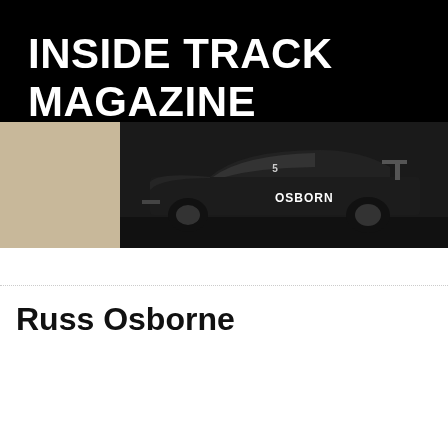INSIDE TRACK MAGAZINE
[Figure (screenshot): Black navigation header with hamburger menu icon (three horizontal white lines)]
Russ Osborne
[Figure (photo): Photo of a dark racing stock car with OSBORNE lettering on the side, taken at a racing event]